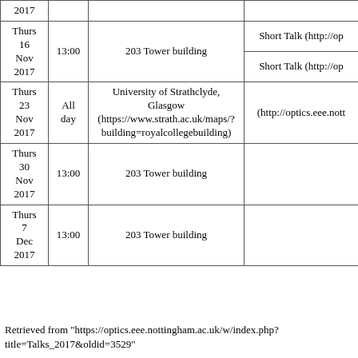| Date | Time | Venue | Talk |
| --- | --- | --- | --- |
| 2017 |  |  |  |
| Thurs 16 Nov 2017 | 13:00 | 203 Tower building | Short Talk (http://op
Short Talk (http://op |
| Thurs 23 Nov 2017 | All day | University of Strathclyde, Glasgow (https://www.strath.ac.uk/maps/?building=royalcollegebuilding) | (http://optics.eee.nott |
| Thurs 30 Nov 2017 | 13:00 | 203 Tower building |  |
| Thurs 7 Dec 2017 | 13:00 | 203 Tower building |  |
Retrieved from "https://optics.eee.nottingham.ac.uk/w/index.php?title=Talks_2017&oldid=3529"